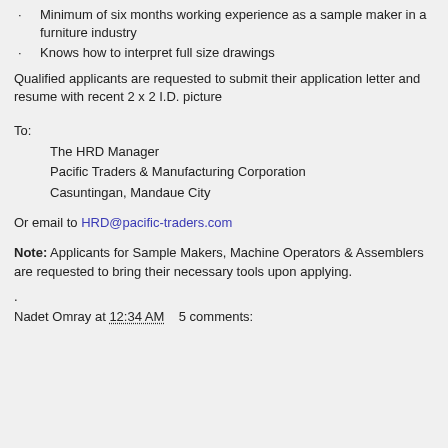Minimum of six months working experience as a sample maker in a furniture industry
Knows how to interpret full size drawings
Qualified applicants are requested to submit their application letter and resume with recent 2 x 2 I.D. picture
To:
The HRD Manager
Pacific Traders & Manufacturing Corporation
Casuntingan, Mandaue City
Or email to HRD@pacific-traders.com
Note: Applicants for Sample Makers, Machine Operators & Assemblers are requested to bring their necessary tools upon applying.
.
Nadet Omray at 12:34 AM   5 comments: